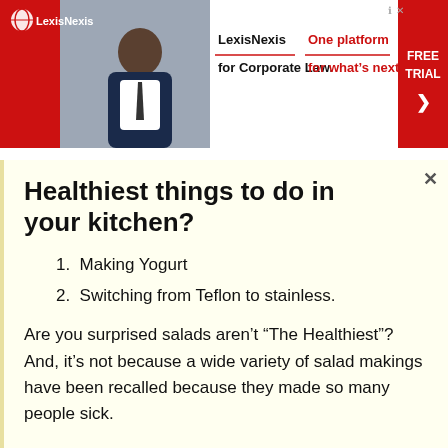[Figure (screenshot): LexisNexis advertisement banner with red background, person in suit, logo, taglines 'LexisNexis for Corporate Law.' and 'One platform for what's next.' and 'FREE TRIAL' button]
Healthiest things to do in your kitchen?
1. Making Yogurt
2. Switching from Teflon to stainless.
Are you surprised salads aren’t “The Healthiest”? And, it’s not because a wide variety of salad makings have been recalled because they made so many people sick.